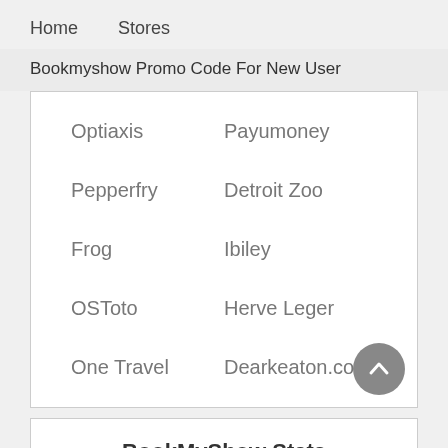Home    Stores
Bookmyshow Promo Code For New User
Optiaxis
Payumoney
Pepperfry
Detroit Zoo
Frog
Ibiley
OSToto
Herve Leger
One Travel
Dearkeaton.co...
BookMyShow Stats